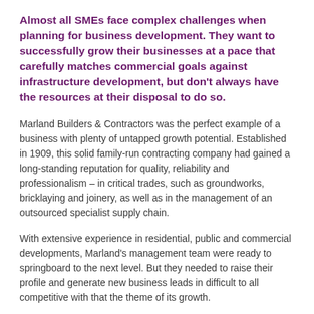Almost all SMEs face complex challenges when planning for business development. They want to successfully grow their businesses at a pace that carefully matches commercial goals against infrastructure development, but don't always have the resources at their disposal to do so.
Marland Builders & Contractors was the perfect example of a business with plenty of untapped growth potential. Established in 1909, this solid family-run contracting company had gained a long-standing reputation for quality, reliability and professionalism – in critical trades, such as groundworks, bricklaying and joinery, as well as in the management of an outsourced specialist supply chain.
With extensive experience in residential, public and commercial developments, Marland's management team were ready to springboard to the next level. But they needed to raise their profile and generate new business leads in difficult to all competitive conditions that the theme of its growth.